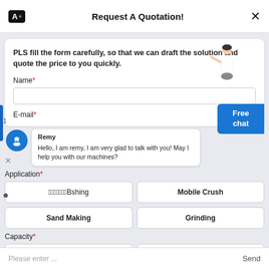Request A Quotation!
PLS fill the form carefully, so that we can draft the solution and quote the price to you quickly.
Name*
E-mail*
Remy
Hello, I am remy, I am very glad to talk with you! May I help you with our machines?
Application*
🔲🔲🔲🔲🔲🔲🔲Bshing
Mobile Crush
Sand Making
Grinding
Capacity*
>50 TPH
>30 TPH
Please enter ...
Send